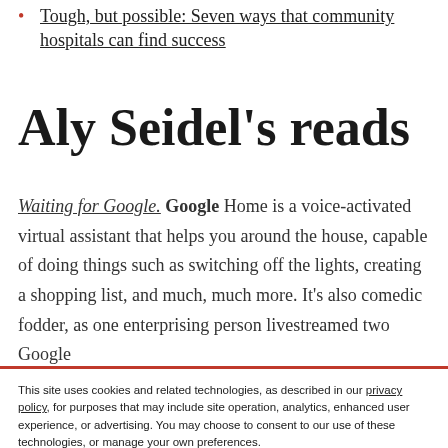Tough, but possible: Seven ways that community hospitals can find success
Aly Seidel's reads
Waiting for Google. Google Home is a voice-activated virtual assistant that helps you around the house, capable of doing things such as switching off the lights, creating a shopping list, and much, much more. It's also comedic fodder, as one enterprising person livestreamed two Google
This site uses cookies and related technologies, as described in our privacy policy, for purposes that may include site operation, analytics, enhanced user experience, or advertising. You may choose to consent to our use of these technologies, or manage your own preferences.
Manage Preferences   Accept All